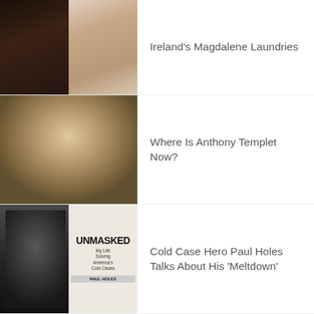[Figure (photo): Two celebrities side by side: man with dark complexion on left, woman with light skin and red/auburn hair on right, festival/event backdrop]
Ireland's Magdalene Laundries
[Figure (photo): Young man with medium-length blonde/brown hair, looking straight ahead, appears to be a mugshot or ID photo]
Where Is Anthony Templet Now?
[Figure (photo): Man in black shirt on the left, book cover on the right: UNMASKED - My Life Solving America's Cold Cases by Paul Holes]
Cold Case Hero Paul Holes Talks About His 'Meltdown'
See All News